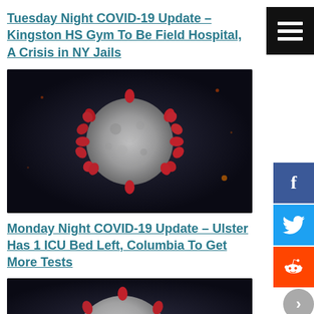Tuesday Night COVID-19 Update – Kingston HS Gym To Be Field Hospital, A Crisis in NY Jails
[Figure (photo): Microscopic image of a SARS-CoV-2 coronavirus particle on dark background, showing red spike proteins on gray surface]
Monday Night COVID-19 Update – Ulster Has 1 ICU Bed Left, Columbia To Get More Tests
[Figure (photo): Microscopic image of a SARS-CoV-2 coronavirus particle on dark background, partially cropped]